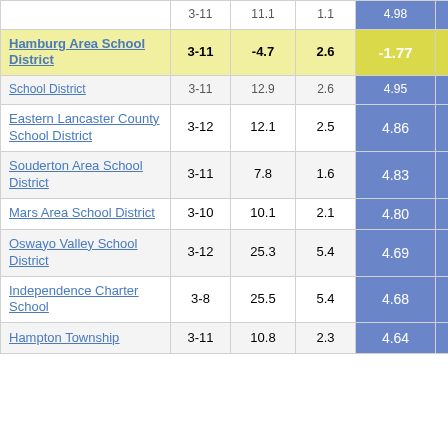| School/District | Grades | Col3 | Col4 | Score |  |
| --- | --- | --- | --- | --- | --- |
| Hamburg Area School District | 3-11 | -4.7 | 2.6 | -1.77 |  |
| School District | 3-11 | 12.9 | 2.6 | 4.95 |  |
| Eastern Lancaster County School District | 3-12 | 12.1 | 2.5 | 4.86 |  |
| Souderton Area School District | 3-11 | 7.8 | 1.6 | 4.83 |  |
| Mars Area School District | 3-10 | 10.1 | 2.1 | 4.80 |  |
| Oswayo Valley School District | 3-12 | 25.3 | 5.4 | 4.69 |  |
| Independence Charter School | 3-8 | 25.5 | 5.4 | 4.68 |  |
| Hampton Township | 3-11 | 10.8 | 2.3 | 4.64 |  |